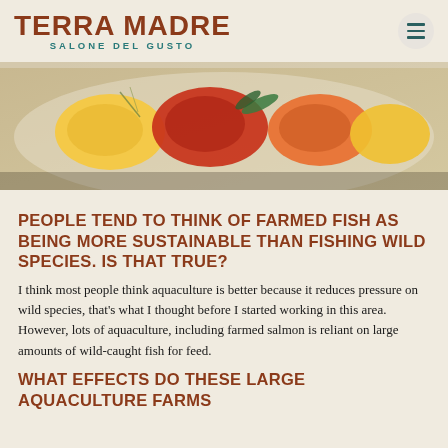TERRA MADRE SALONE DEL GUSTO
[Figure (photo): Close-up photo of colorful roasted or marinated peppers (red, yellow, orange) on a white plate with herbs and garnishes.]
PEOPLE TEND TO THINK OF FARMED FISH AS BEING MORE SUSTAINABLE THAN FISHING WILD SPECIES. IS THAT TRUE?
I think most people think aquaculture is better because it reduces pressure on wild species, that’s what I thought before I started working in this area. However, lots of aquaculture, including farmed salmon is reliant on large amounts of wild-caught fish for feed.
WHAT EFFECTS DO THESE LARGE AQUACULTURE FARMS